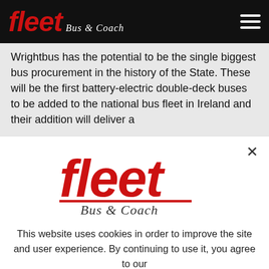fleet Bus & Coach
Wrightbus has the potential to be the single biggest bus procurement in the history of the State. These will be the first battery-electric double-deck buses to be added to the national bus fleet in Ireland and their addition will deliver a
[Figure (logo): Fleet Bus & Coach logo - large red italic 'fleet' text with 'Bus & Coach' script below, on white background]
This website uses cookies in order to improve the site and user experience. By continuing to use it, you agree to our Privacy Policy.
I understand